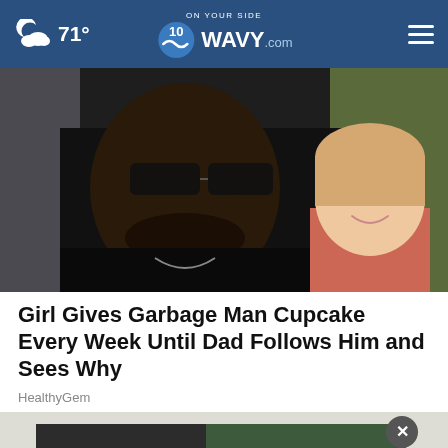71° WAVY.com ON YOUR SIDE
[Figure (photo): A smiling man wearing sunglasses and a dark jacket, posing with a smiling toddler girl wearing a pink bow in her hair.]
Girl Gives Garbage Man Cupcake Every Week Until Dad Follows Him and Sees Why
HealthyGem
[Figure (photo): Advertisement banner showing 'Veterans,' text over a dark background with a person sitting in chairs.]